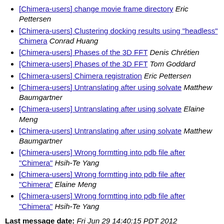[Chimera-users] change movie frame directory  Eric Pettersen
[Chimera-users] Clustering docking results using "headless" Chimera  Conrad Huang
[Chimera-users] Phases of the 3D FFT  Denis Chrétien
[Chimera-users] Phases of the 3D FFT  Tom Goddard
[Chimera-users] Chimera registration  Eric Pettersen
[Chimera-users] Untranslating after using solvate  Matthew Baumgartner
[Chimera-users] Untranslating after using solvate  Elaine Meng
[Chimera-users] Untranslating after using solvate  Matthew Baumgartner
[Chimera-users] Wrong formtting into pdb file after "Chimera"  Hsih-Te Yang
[Chimera-users] Wrong formtting into pdb file after "Chimera"  Elaine Meng
[Chimera-users] Wrong formtting into pdb file after "Chimera"  Hsih-Te Yang
Last message date: Fri Jun 29 14:40:15 PDT 2012
Archived on: Fri Oct 18 16:41:08 PDT 2019
Messages sorted by: [ thread ] [ subject ] [ author ]
More info on this list...